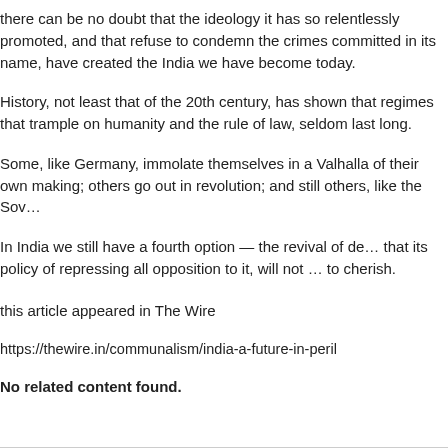there can be no doubt that the ideology it has so relentlessly promoted, and that refuse to condemn the crimes committed in its name, have created the India we have become today.
History, not least that of the 20th century, has shown that regimes that trample on humanity and the rule of law, seldom last long.
Some, like Germany, immolate themselves in a Valhalla of their own making; others go out in revolution; and still others, like the Sov…
In India we still have a fourth option — the revival of de… that its policy of repressing all opposition to it, will not … to cherish.
this article appeared in The Wire
https://thewire.in/communalism/india-a-future-in-peril
No related content found.